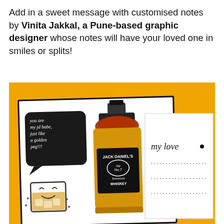Add in a sweet message with customised notes by Vinita Jakkal, a Pune-based graphic designer whose notes will have your loved one in smiles or splits!
[Figure (photo): A photo on an orange/golden background showing customised greeting cards by Vinita Jakkal. The main card features a Jack Daniel's whiskey bottle illustration with sunglasses, a smiling whiskey glass, and a speech bubble reading 'you are my jd babe, just like a golden peg!!!'. A second card partially visible on the right reads 'my love' with dotted lines below.]